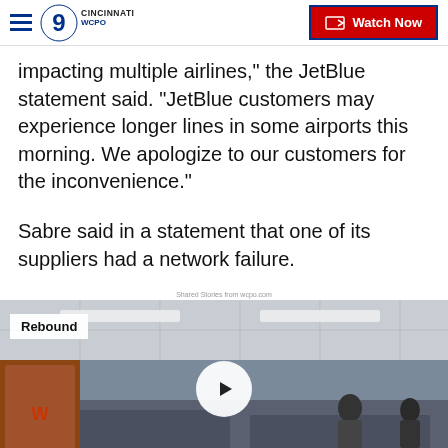WCPO 9 CINCINNATI | Watch Now
impacting multiple airlines," the JetBlue statement said. "JetBlue customers may experience longer lines in some airports this morning. We apologize to our customers for the inconvenience."
Sabre said in a statement that one of its suppliers had a network failure.
Shared Stories from wcpo.com
[Figure (screenshot): Video thumbnail showing an airport check-in area with a 'Rebound' label overlay and a play button in the center.]